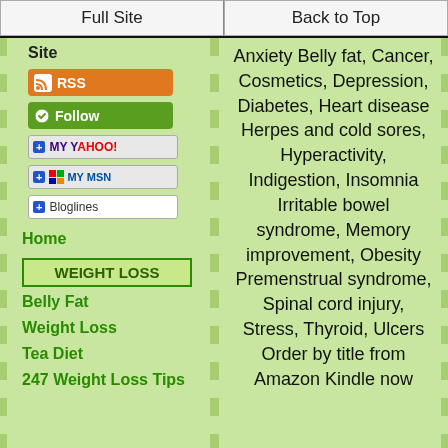Full Site | Back to Top
Site
[Figure (screenshot): RSS feed button (orange)]
[Figure (screenshot): Follow button (green)]
[Figure (screenshot): Add to My Yahoo! button]
[Figure (screenshot): Add to My MSN button]
[Figure (screenshot): Add to Bloglines button]
Home
WEIGHT LOSS
Belly Fat
Weight Loss
Tea Diet
247 Weight Loss Tips
Anxiety Belly fat, Cancer, Cosmetics, Depression, Diabetes, Heart disease Herpes and cold sores, Hyperactivity, Indigestion, Insomnia Irritable bowel syndrome, Memory improvement, Obesity Premenstrual syndrome, Spinal cord injury, Stress, Thyroid, Ulcers Order by title from Amazon Kindle now